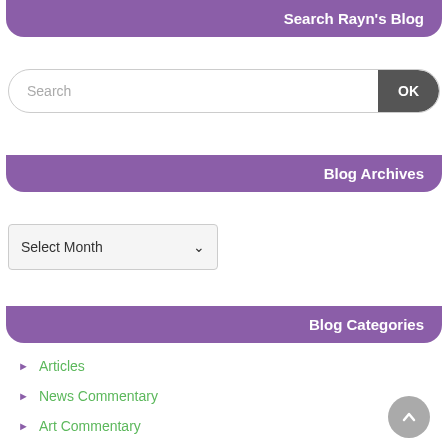Search Rayn's Blog
[Figure (screenshot): Search input box with OK button]
Blog Archives
[Figure (screenshot): Select Month dropdown]
Blog Categories
Articles
News Commentary
Art Commentary
Proclamations